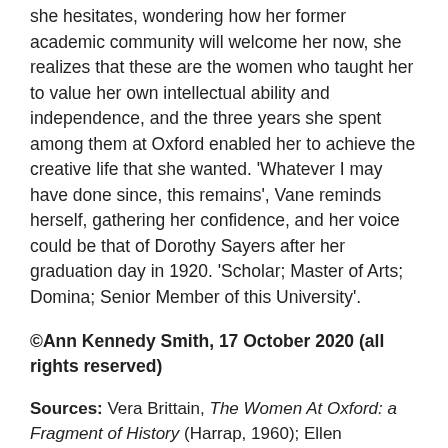she hesitates, wondering how her former academic community will welcome her now, she realizes that these are the women who taught her to value her own intellectual ability and independence, and the three years she spent among them at Oxford enabled her to achieve the creative life that she wanted. 'Whatever I may have done since, this remains', Vane reminds herself, gathering her confidence, and her voice could be that of Dorothy Sayers after her graduation day in 1920. 'Scholar; Master of Arts; Domina; Senior Member of this University'.
©Ann Kennedy Smith, 17 October 2020 (all rights reserved)
Sources: Vera Brittain, The Women At Oxford: a Fragment of History (Harrap, 1960); Ellen Brundrige, 'Translations of Latin in Dorothy Sayers' Gaudy Night'; Janet Howarth, '"In Oxford... but not of Oxford": the women's colleges', History of the University of Oxford, ed. Brock and Curthoys, vol VII